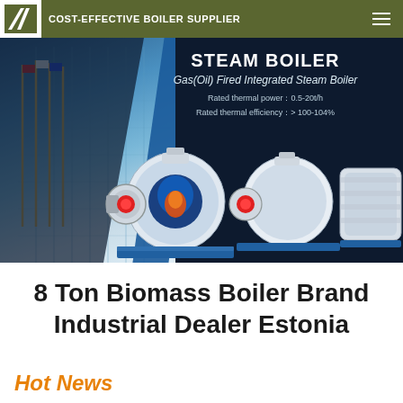COST-EFFECTIVE BOILER SUPPLIER
[Figure (photo): Steam Boiler product banner showing Gas(Oil) Fired Integrated Steam Boiler with specs: Rated thermal power: 0.5-20t/h, Rated thermal efficiency: > 100-104%. Three industrial steam boiler units displayed against a building background.]
8 Ton Biomass Boiler Brand Industrial Dealer Estonia
Hot News